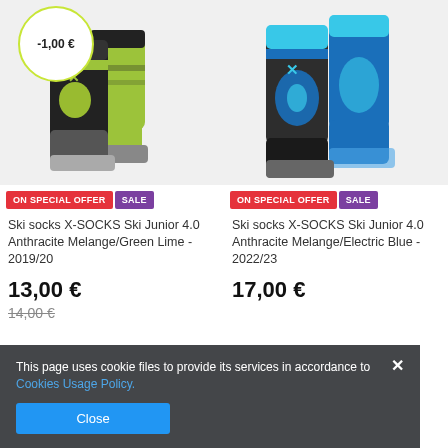[Figure (photo): Ski socks X-SOCKS Ski Junior 4.0 Anthracite Melange/Green Lime product image with -1,00 € discount circle badge]
ON SPECIAL OFFER   SALE
Ski socks X-SOCKS Ski Junior 4.0 Anthracite Melange/Green Lime - 2019/20
13,00 €
14,00 €
[Figure (photo): Ski socks X-SOCKS Ski Junior 4.0 Anthracite Melange/Electric Blue product image]
ON SPECIAL OFFER   SALE
Ski socks X-SOCKS Ski Junior 4.0 Anthracite Melange/Electric Blue - 2022/23
17,00 €
This page uses cookie files to provide its services in accordance to Cookies Usage Policy.
Close